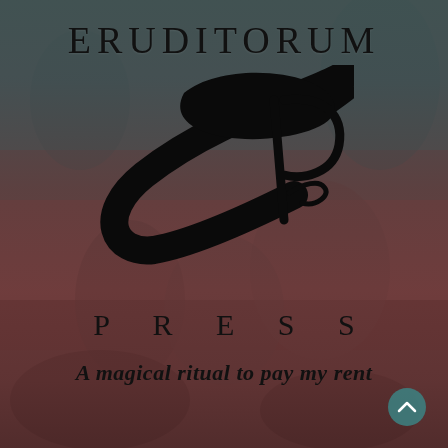[Figure (logo): Eruditorum Press logo page with stylized EP monogram logo, dark teal/red background with faint figures scene, text 'ERUDITORUM' at top, 'PRESS' below logo, tagline 'A magical ritual to pay my rent' near bottom]
ERUDITORUM
P R E S S
A magical ritual to pay my rent